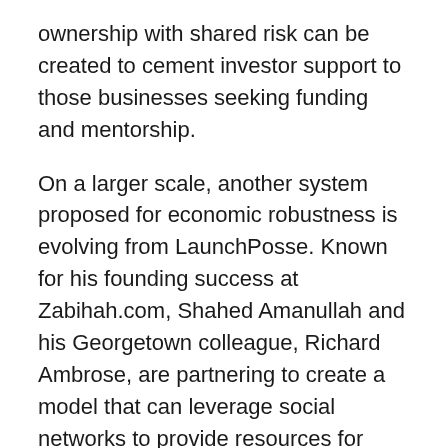ownership with shared risk can be created to cement investor support to those businesses seeking funding and mentorship.
On a larger scale, another system proposed for economic robustness is evolving from LaunchPosse. Known for his founding success at Zabihah.com, Shahed Amanullah and his Georgetown colleague, Richard Ambrose, are partnering to create a model that can leverage social networks to provide resources for knowledge, money, and even moral support. It is the reality of necessity that propelled its inception.
Amanullah explained, “From this point on, there will never be enough jobs for people. How do we as a society address this issue? Either we accept the new reality of a permanent underclass, or we try to get people to start their